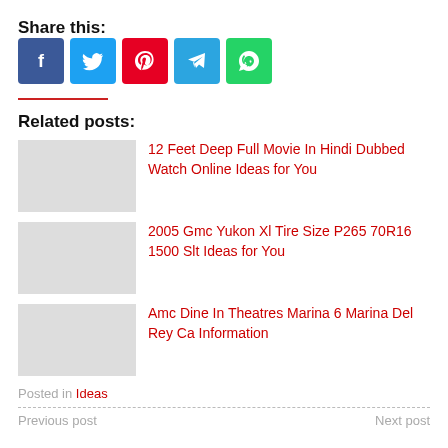Share this:
[Figure (infographic): Social sharing buttons: Facebook (blue), Twitter (light blue), Pinterest (red), Telegram (blue), WhatsApp (green)]
12 Feet Deep Full Movie In Hindi Dubbed Watch Online Ideas for You
2005 Gmc Yukon Xl Tire Size P265 70R16 1500 Slt Ideas for You
Amc Dine In Theatres Marina 6 Marina Del Rey Ca Information
Posted in Ideas
Previous post   Next post